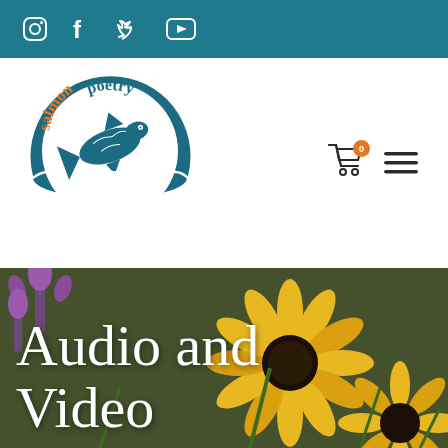Social media icons: Instagram, Facebook, Twitter, YouTube
[Figure (logo): Salmon Poetry logo: circular emblem with a leaping salmon illustration in teal/dark blue, with the word 'salmon' in orange arc above and 'poetry' in teal arc, water waves at the bottom]
Audio and Video